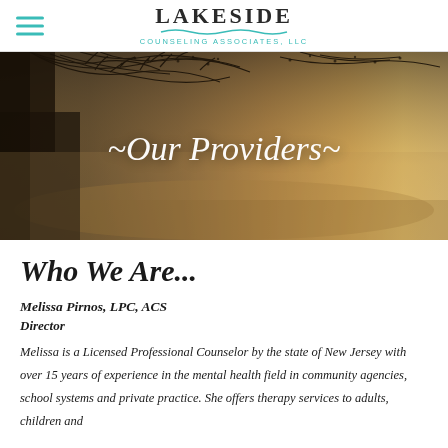LAKESIDE Counseling Associates, LLC
[Figure (photo): Hero banner image showing misty autumn trees and lake with cursive text '~Our Providers~' overlaid in white italic text]
Who We Are...
Melissa Pirnos, LPC, ACS
Director
Melissa is a Licensed Professional Counselor by the state of New Jersey with over 15 years of experience in the mental health field in community agencies, school systems and private practice. She offers therapy services to adults, children and